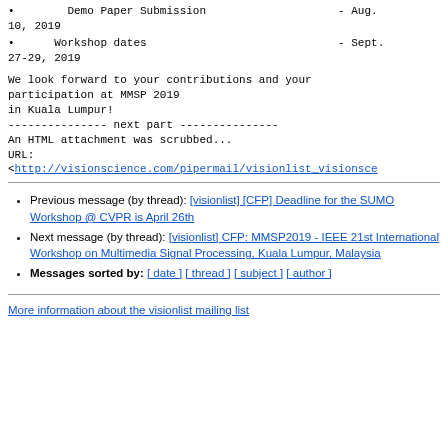Demo Paper Submission - Aug. 10, 2019
Workshop dates - Sept. 27-29, 2019
We look forward to your contributions and your participation at MMSP 2019
in Kuala Lumpur!
--------------- next part ---------------
An HTML attachment was scrubbed...
URL:
<http://visionscience.com/pipermail/visionlist_visionsce
Previous message (by thread): [visionlist] [CFP] Deadline for the SUMO Workshop @ CVPR is April 26th
Next message (by thread): [visionlist] CFP: MMSP2019 - IEEE 21st International Workshop on Multimedia Signal Processing, Kuala Lumpur, Malaysia
Messages sorted by: [ date ] [ thread ] [ subject ] [ author ]
More information about the visionlist mailing list